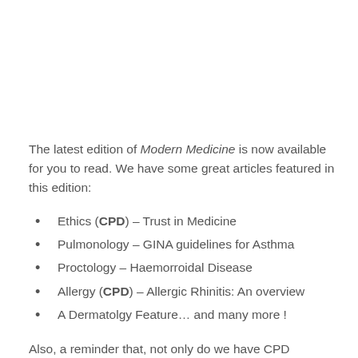The latest edition of Modern Medicine is now available for you to read. We have some great articles featured in this edition:
Ethics (CPD) – Trust in Medicine
Pulmonology – GINA guidelines for Asthma
Proctology – Haemorroidal Disease
Allergy (CPD) – Allergic Rhinitis: An overview
A Dermatolgy Feature… and many more !
Also, a reminder that, not only do we have CPD questions available within the magazine itself,